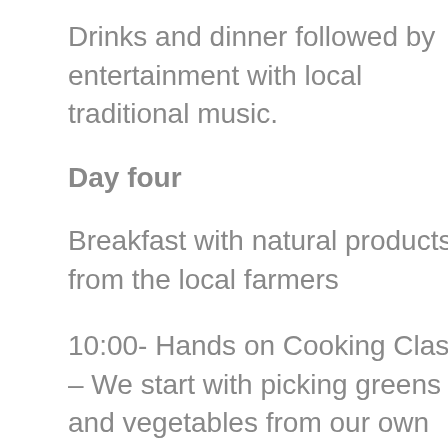Drinks and dinner followed by entertainment with local traditional music.
Day four
Breakfast with natural products from the local farmers
10:00- Hands on Cooking Class – We start with picking greens and vegetables from our own garden from which we will prepare seasonal dishes. A local